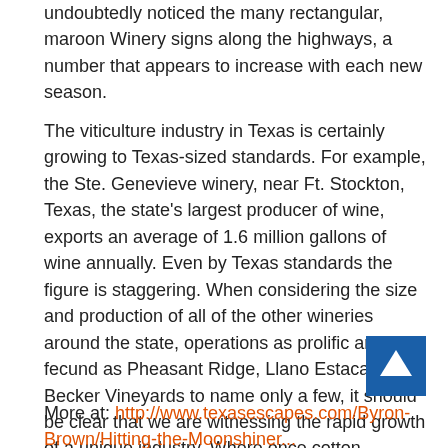undoubtedly noticed the many rectangular, maroon Winery signs along the highways, a number that appears to increase with each new season.
The viticulture industry in Texas is certainly growing to Texas-sized standards. For example, the Ste. Genevieve winery, near Ft. Stockton, Texas, the state's largest producer of wine, exports an average of 1.6 million gallons of wine annually. Even by Texas standards the figure is staggering. When considering the size and production of all of the other wineries around the state, operations as prolific and fecund as Pheasant Ridge, Llano Estacado, Becker Vineyards to name only a few, it should be clear that we are witnessing the rapid growth of a unique industry. Where once cotton, soybeans, onions and melons dominated the fields of west Texas, now thousands of acres of grapevines hang lazing in the afternoon's sun and snoozing in the cool, dry desert evenings.
More at: http://www.texasescapes.com/Byron-Brown/Hitting-the-Moonshine...